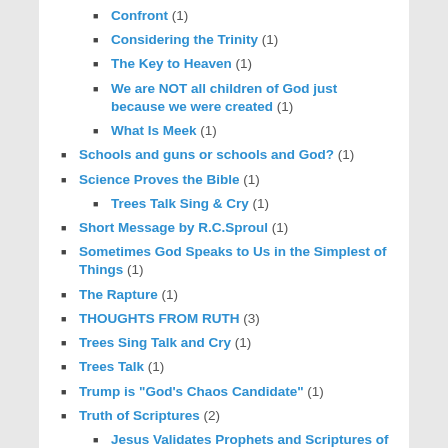Confront (1)
Considering the Trinity (1)
The Key to Heaven (1)
We are NOT all children of God just because we were created (1)
What Is Meek (1)
Schools and guns or schools and God? (1)
Science Proves the Bible (1)
Trees Talk Sing & Cry (1)
Short Message by R.C.Sproul (1)
Sometimes God Speaks to Us in the Simplest of Things (1)
The Rapture (1)
THOUGHTS FROM RUTH (3)
Trees Sing Talk and Cry (1)
Trees Talk (1)
Trump is "God's Chaos Candidate" (1)
Truth of Scriptures (2)
Jesus Validates Prophets and Scriptures of Old Testament (1)
What Did Jesus Write In the Sand? (1)
Uncategorized (36)